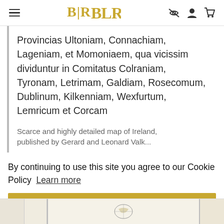BLR - navigation header with hamburger menu, logo, and icons
Provincias Ultoniam, Connachiam, Lageniam, et Momoniaem, qua vicissim dividuntur in Comitatus Colraniam, Tyronam, Letrimam, Galdiam, Rosecomum, Dublinum, Kilkenniam, Wexfurtum, Lemricum et Corcam
Scarce and highly detailed map of Ireland, published by Gerard and Leonard Valk...
By continuing to use this site you agree to our Cookie Policy  Learn more
Got it!
[Figure (illustration): Bottom strip showing partial map images]